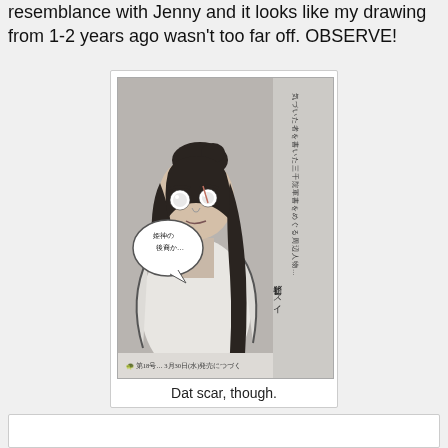resemblance with Jenny and it looks like my drawing from 1-2 years ago wasn't too far off. OBSERVE!
[Figure (illustration): Manga-style black and white illustration of a female character with long dark hair, wearing loose clothing, with a speech bubble containing Japanese text. Japanese text runs vertically on the right side. Caption at bottom reads 第18号…3月30日(水)発売につづく]
Dat scar, though.